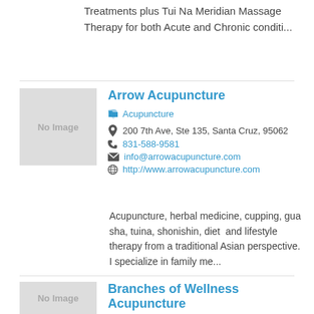Treatments plus Tui Na Meridian Massage Therapy for both Acute and Chronic conditi...
Arrow Acupuncture
Acupuncture
200 7th Ave, Ste 135, Santa Cruz, 95062
831-588-9581
info@arrowacupuncture.com
http://www.arrowacupuncture.com
Acupuncture, herbal medicine, cupping, gua sha, tuina, shonishin, diet  and lifestyle therapy from a traditional Asian perspective. I specialize in family me...
Branches of Wellness Acupuncture
Acupuncture